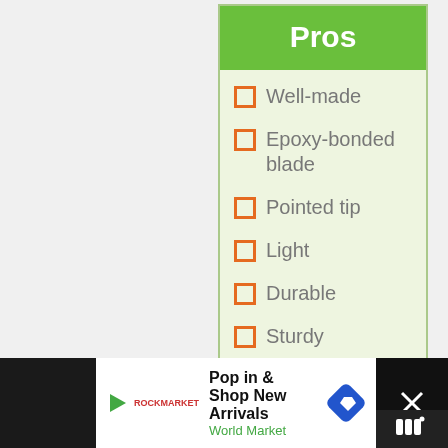Pros
Well-made
Epoxy-bonded blade
Pointed tip
Light
Durable
Sturdy